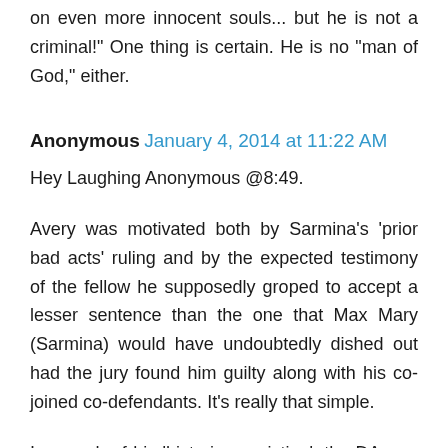on even more innocent souls... but he is not a criminal!" One thing is certain. He is no "man of God," either.
Anonymous January 4, 2014 at 11:22 AM
Hey Laughing Anonymous @8:49.
Avery was motivated both by Sarmina's 'prior bad acts' ruling and by the expected testimony of the fellow he supposedly groped to accept a lesser sentence than the one that Max Mary (Sarmina) would have undoubtedly dished out had the jury found him guilty along with his co-joined co-defendants. It's really that simple.
In search of his 'historic conviction', the DA was after a bigger fish (Monsignor...